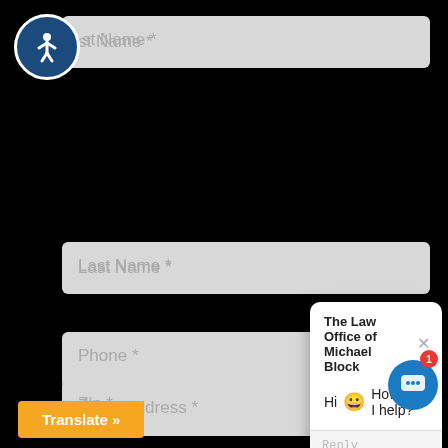[Figure (screenshot): Web form screenshot with accessibility icon, form fields (First Name, Last Name, Phone, Email Address, Zip), a live chat popup from The Law Office of Michael Block saying 'Hi 😀 How can I help?', a chat bubble button with badge showing 1, and a Translate button.]
st Name *
Last Name *
Phone *
Email Address *
Zip *
The Law Office of Michael Block
Hi 😀 How can I help?
Reply to The Law Off...
Translate »